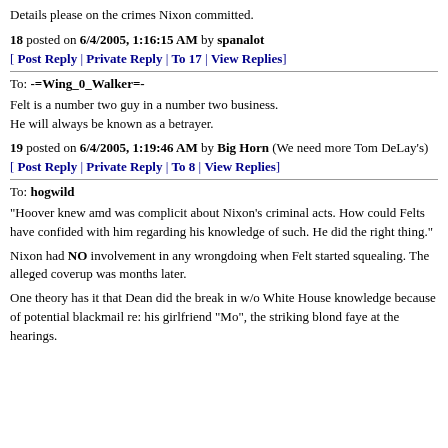Details please on the crimes Nixon committed.
18 posted on 6/4/2005, 1:16:15 AM by spanalot
[ Post Reply | Private Reply | To 17 | View Replies]
To: -=Wing_0_Walker=-
Felt is a number two guy in a number two business.
He will always be known as a betrayer.
19 posted on 6/4/2005, 1:19:46 AM by Big Horn (We need more Tom DeLay's)
[ Post Reply | Private Reply | To 8 | View Replies]
To: hogwild
"Hoover knew amd was complicit about Nixon's criminal acts. How could Felts have confided with him regarding his knowledge of such. He did the right thing."
Nixon had NO involvement in any wrongdoing when Felt started squealing. The alleged coverup was months later.
One theory has it that Dean did the break in w/o White House knowledge because of potential blackmail re: his girlfriend "Mo", the striking blond faye at the hearings.